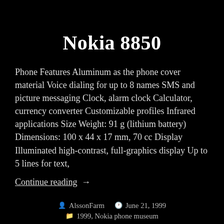Nokia 8850
Phone Features Aluminum as the phone cover material Voice dialing for up to 8 names SMS and picture messaging Clock, alarm clock Calculator, currency converter Customizable profiles Infrared applications Size Weight: 91 g (lithium battery) Dimensions: 100 x 44 x 17 mm, 70 cc Display Illuminated high-contrast, full-graphics display Up to 5 lines for text,
Continue reading  →
AlssonFarm  June 21, 1999  1999, Nokia phone museum